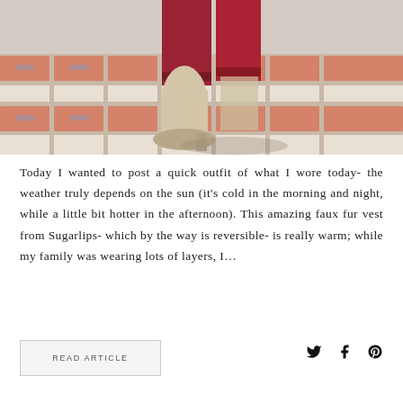[Figure (photo): Close-up photo of a person's lower legs wearing red/maroon trousers and beige ankle boots, standing on a decorative brick/tile pavement with red and white patterned tiles.]
Today I wanted to post a quick outfit of what I wore today- the weather truly depends on the sun (it's cold in the morning and night, while a little bit hotter in the afternoon). This amazing faux fur vest from Sugarlips- which by the way is reversible- is really warm; while my family was wearing lots of layers, I...
READ ARTICLE